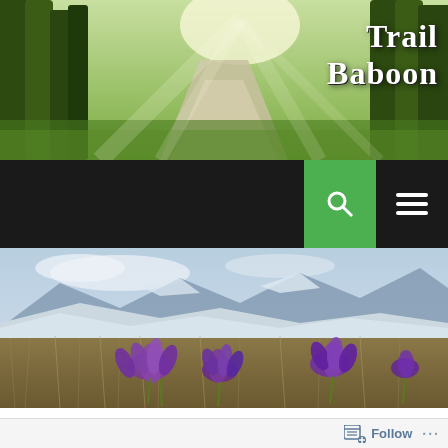[Figure (photo): Forest path with sunlight streaming through trees, used as website header background]
Trail Baboon
[Figure (screenshot): Black navigation bar with green search button (magnifying glass icon) and white hamburger menu icon]
[Figure (photo): Mountain landscape with snow patches and purple crocus flowers in foreground dry grass]
[Figure (screenshot): Follow bar at bottom with follow button icon and three dots menu]